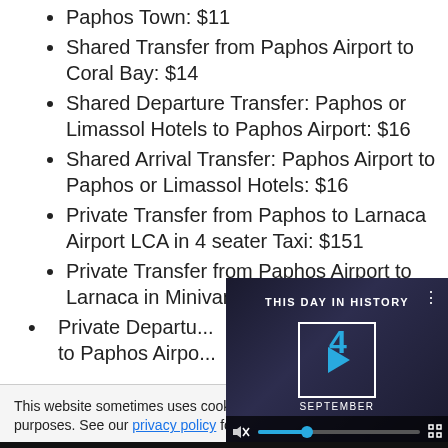Paphos Town: $11
Shared Transfer from Paphos Airport to Coral Bay: $14
Shared Departure Transfer: Paphos or Limassol Hotels to Paphos Airport: $16
Shared Arrival Transfer: Paphos Airport to Paphos or Limassol Hotels: $16
Private Transfer from Paphos to Larnaca Airport LCA in 4 seater Taxi: $151
Private Transfer from Paphos Airport to Larnaca in Minivan(Taxi): $218
Private Departure... to Paphos Airport...
This website sometimes uses cookies for tracking purposes. See our privacy policy for more details.
[Figure (screenshot): Video player overlay showing 'This Day in History' with date September 4, play button, mute icon, progress bar with blue dot, and fullscreen icon.]